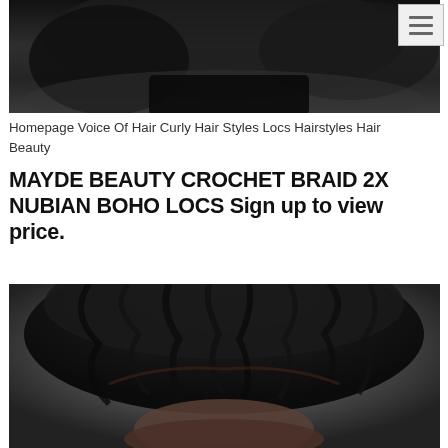[Figure (photo): Close-up photo of a person with dark curly/wavy locs hairstyle, wearing a black top, partial view cropped at top]
Homepage Voice Of Hair Curly Hair Styles Locs Hairstyles Hair Beauty
MAYDE BEAUTY CROCHET BRAID 2X NUBIAN BOHO LOCS Sign up to view price.
[Figure (photo): Portrait photo of a person with Nubian Boho Locs crochet braid hairstyle, showing detailed twisted locs pulled up, dark hair against grey background]